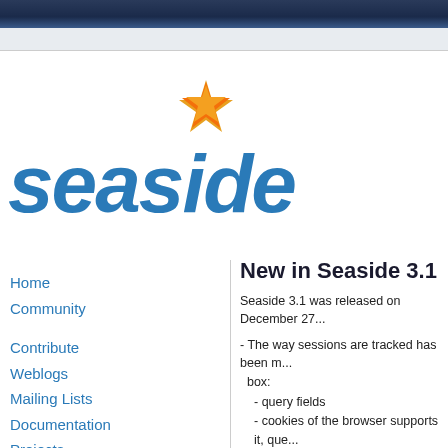[Figure (logo): Seaside logo with blue italic text 'seaside' and an orange/red star graphic above]
Home
Community
Contribute
Weblogs
Mailing Lists
Documentation
Projects
Contributors
Development
New in Seaside 3.1
Seaside 3.1 was released on December 27...
- The way sessions are tracked has been m... box:
- query fields
- cookies of the browser supports it, que...
- new: cookies only
- new: cookies for browsers and IPs for...
- new: ssl session id, needs special serv...
- All the deprecated methods and classes h...